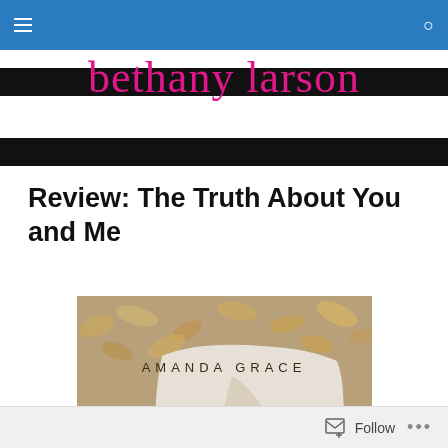bethany larson — navigation bar with hamburger menu and search icon
Review: The Truth About You and Me
[Figure (photo): Book cover of 'The Truth About You and Me' by Amanda Grace. Shows a person lying in autumn leaves, wearing a white top, with 'AMANDA GRACE' text overlaid in spaced letters.]
Follow ...